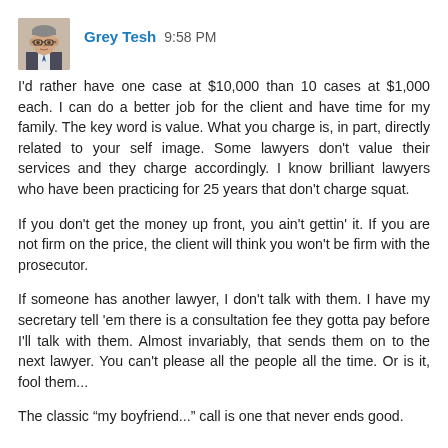[Figure (photo): Profile photo of Grey Tesh, a man wearing glasses and a suit]
Grey Tesh 9:58 PM
I'd rather have one case at $10,000 than 10 cases at $1,000 each. I can do a better job for the client and have time for my family. The key word is value. What you charge is, in part, directly related to your self image. Some lawyers don't value their services and they charge accordingly. I know brilliant lawyers who have been practicing for 25 years that don't charge squat.
If you don't get the money up front, you ain't gettin' it. If you are not firm on the price, the client will think you won't be firm with the prosecutor.
If someone has another lawyer, I don't talk with them. I have my secretary tell 'em there is a consultation fee they gotta pay before I'll talk with them. Almost invariably, that sends them on to the next lawyer. You can't please all the people all the time. Or is it, fool them...
The classic “my boyfriend...” call is one that never ends good.